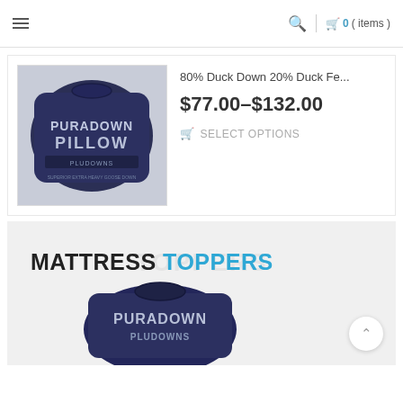☰  🔍 | 🛒 0 ( items )
[Figure (photo): Puradown Pillow product in navy blue packaging bag]
80% Duck Down 20% Duck Fe...
$77.00–$132.00
SELECT OPTIONS
[Figure (photo): Mattress Toppers banner with Puradown product image partially visible at bottom]
MATTRESS TOPPERS